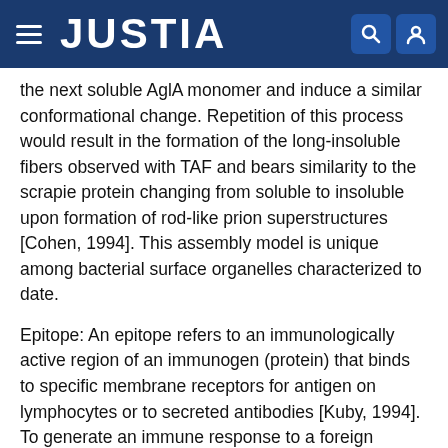JUSTIA
the next soluble AglA monomer and induce a similar conformational change. Repetition of this process would result in the formation of the long-insoluble fibers observed with TAF and bears similarity to the scrapie protein changing from soluble to insoluble upon formation of rod-like prion superstructures [Cohen, 1994]. This assembly model is unique among bacterial surface organelles characterized to date.
Epitope: An epitope refers to an immunologically active region of an immunogen (protein) that binds to specific membrane receptors for antigen on lymphocytes or to secreted antibodies [Kuby, 1994]. To generate an immune response to a foreign antigen, lymphocytes and antibodies recognize these specific regions (epitopes) of the antigen rather than the entire molecule.
B cell epitope: The region of an immunogen (protein